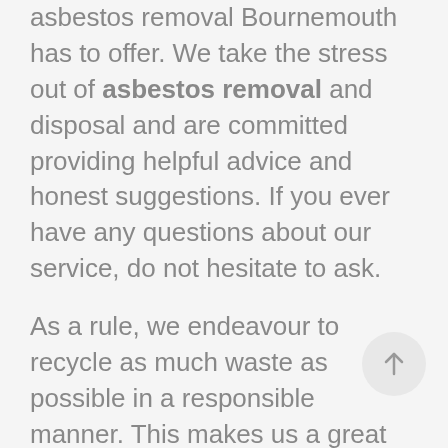asbestos removal Bournemouth has to offer. We take the stress out of asbestos removal and disposal and are committed providing helpful advice and honest suggestions. If you ever have any questions about our service, do not hesitate to ask.
As a rule, we endeavour to recycle as much waste as possible in a responsible manner. This makes us a great choice for those seeking an environmentally responsible service. So, whether you're enlisting us to handle trade waste or carry out Bournemouth asbestos removal, you can be